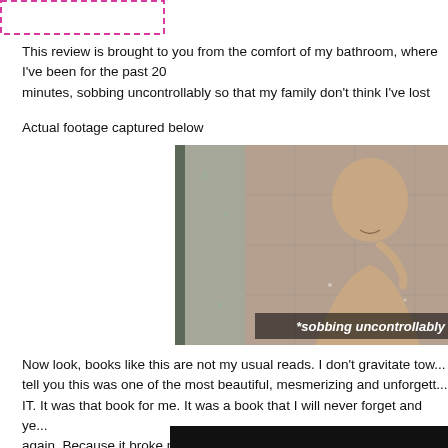[Figure (other): Dashed pink/magenta border rectangle at top left, partially visible]
This review is brought to you from the comfort of my bathroom, where I've been for the past 20 minutes, sobbing uncontrollably so that my family don't think I've lost
Actual footage captured below
[Figure (photo): A bald man crying in a shower, seen through wet glass, with caption text '*sobbing uncontrollably']
Now look, books like this are not my usual reads. I don't gravitate tow... tell you this was one of the most beautiful, mesmerizing and unforgett... IT. It was that book for me. It was a book that I will never forget and ye... again. Because it broke me. It was this ying and yang sort of dynamic... have one without the other.